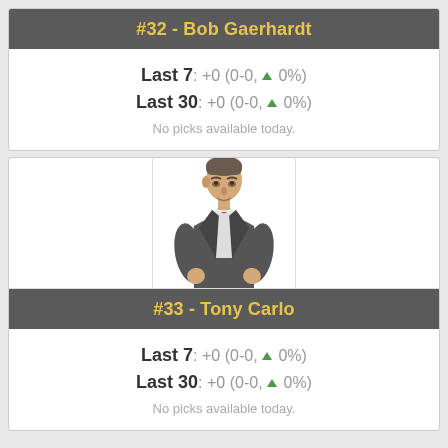#32 - Bob Gaerhardt
Last 7: +0 (0-0, ▲ 0%)
Last 30: +0 (0-0, ▲ 0%)
No picks available today.
[Figure (photo): Photo of Tony Carlo, a man in a gray vest, white shirt, and red tie]
#33 - Tony Carlo
Last 7: +0 (0-0, ▲ 0%)
Last 30: +0 (0-0, ▲ 0%)
No picks available today.